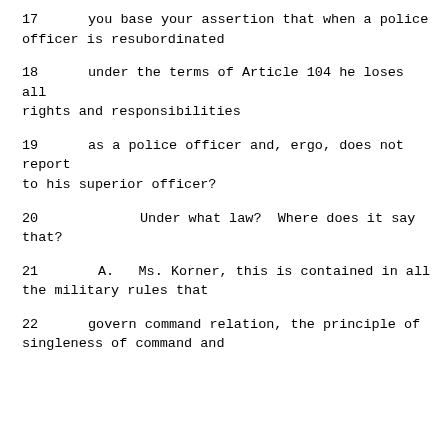17     you base your assertion that when a police officer is resubordinated
18     under the terms of Article 104 he loses all rights and responsibilities
19     as a police officer and, ergo, does not report to his superior officer?
20               Under what law?  Where does it say that?
21        A.   Ms. Korner, this is contained in all the military rules that
22     govern command relation, the principle of singleness of command and